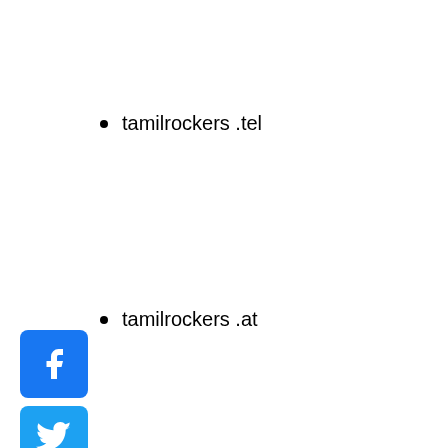tamilrockers .tel
tamilrockers .at
tamilrockers .mv
tamilrockers .sh
tamilrockers .tf